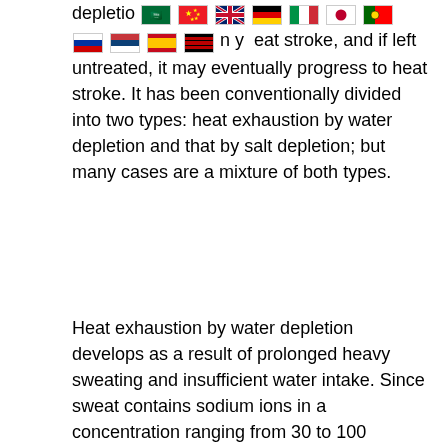depletion [flags] heat stroke, and if left untreated, it may eventually progress to heat stroke. It has been conventionally divided into two types: heat exhaustion by water depletion and that by salt depletion; but many cases are a mixture of both types.
Heat exhaustion by water depletion develops as a result of prolonged heavy sweating and insufficient water intake. Since sweat contains sodium ions in a concentration ranging from 30 to 100 milliequivalents per litre, which is lower than that in plasma, a great loss of sweat brings about hypohydration (reduction in body water content) and hypernatraemia (increased sodium concentration in plasma). Heat exhaustion is characterized by thirst, weakness, fatigue, dizziness, anxiety, oliguria (scanty urination), tachycardia (rapid heartbeat) and moderate hyperthermia (39ºC or above). Dehydration also leads to a decline in sweating activity, a rise in skin temperature, and increases in plasma protein and plasma sodium levels and in the haematocrit value (the ratio of